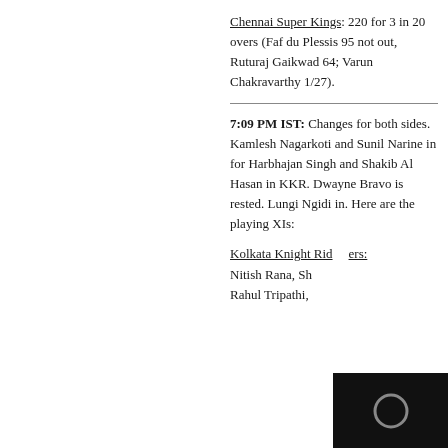Chennai Super Kings: 220 for 3 in 20 overs (Faf du Plessis 95 not out, Ruturaj Gaikwad 64; Varun Chakravarthy 1/27).
7:09 PM IST: Changes for both sides. Kamlesh Nagarkoti and Sunil Narine in for Harbhajan Singh and Shakib Al Hasan in KKR. Dwayne Bravo is rested. Lungi Ngidi in. Here are the playing XIs:
Kolkata Knight Riders: Nitish Rana, Sh... Rahul Tripathi,